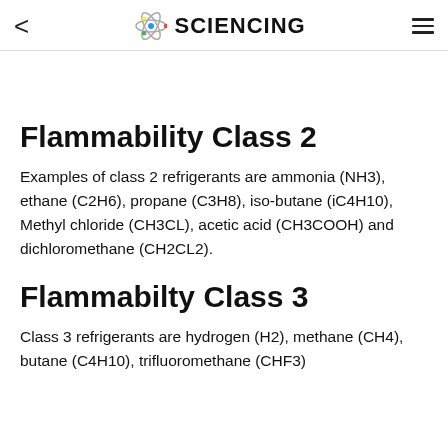< SCIENCING ≡
Flammability Class 2
Examples of class 2 refrigerants are ammonia (NH3), ethane (C2H6), propane (C3H8), iso-butane (iC4H10), Methyl chloride (CH3CL), acetic acid (CH3COOH) and dichloromethane (CH2CL2).
Flammabilty Class 3
Class 3 refrigerants are hydrogen (H2), methane (CH4), butane (C4H10), trifluoromethane (CHF3)